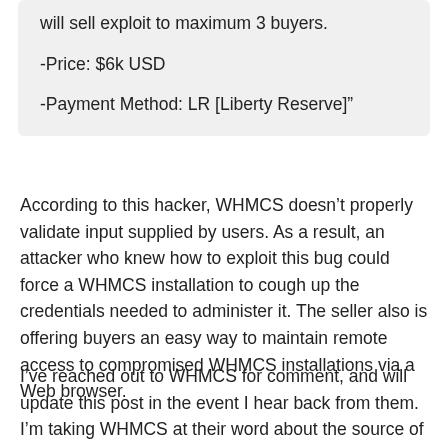will sell exploit to maximum 3 buyers.
-Price: $6k USD
-Payment Method: LR [Liberty Reserve]"
According to this hacker, WHMCS doesn't properly validate input supplied by users. As a result, an attacker who knew how to exploit this bug could force a WHMCS installation to cough up the credentials needed to administer it. The seller also is offering buyers an easy way to maintain remote access to compromised WHMCS installations via a Web browser.
I've reached out to WHMCS for comment, and will update this post in the event I hear back from them. I'm taking WHMCS at their word about the source of their breach, but it goes